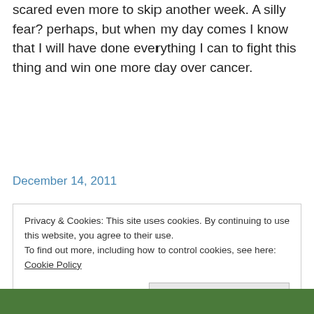scared even more to skip another week. A silly fear? perhaps, but when my day comes I know that I will have done everything I can to fight this thing and win one more day over cancer.
December 14, 2011
Privacy & Cookies: This site uses cookies. By continuing to use this website, you agree to their use.
To find out more, including how to control cookies, see here: Cookie Policy
Close and accept
[Figure (photo): Bottom portion of a person's face/head, green background visible]